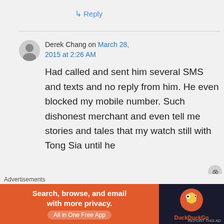↳ Reply
Derek Chang on March 28, 2015 at 2:26 AM
Had called and sent him several SMS and texts and no reply from him. He even blocked my mobile number. Such dishonest merchant and even tell me stories and tales that my watch still with Tong Sia until he
Advertisements
[Figure (screenshot): DuckDuckGo advertisement banner: orange background with text 'Search, browse, and email with more privacy. All in One Free App' and DuckDuckGo duck logo on dark right panel]